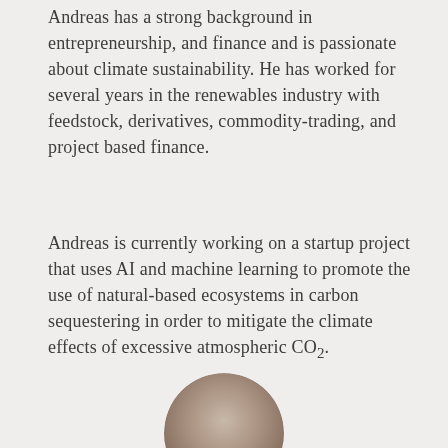Andreas has a strong background in entrepreneurship, and finance and is passionate about climate sustainability. He has worked for several years in the renewables industry with feedstock, derivatives, commodity-trading, and project based finance.
Andreas is currently working on a startup project that uses AI and machine learning to promote the use of natural-based ecosystems in carbon sequestering in order to mitigate the climate effects of excessive atmospheric CO2.
[Figure (photo): Partial circular portrait photo of a person, cropped at bottom of page]